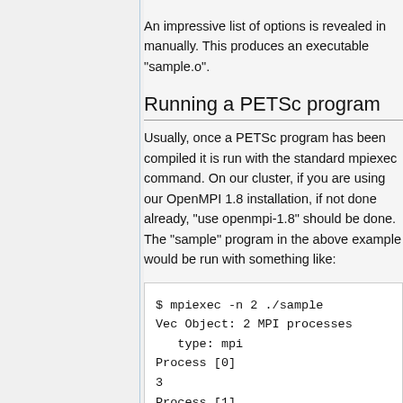An impressive list of options is revealed in manually. This produces an executable "sample.o".
Running a PETSc program
Usually, once a PETSc program has been compiled it is run with the standard mpiexec command. On our cluster, if you are using our OpenMPI 1.8 installation, if not done already, "use openmpi-1.8" should be done. The "sample" program in the above example would be run with something like:
$ mpiexec -n 2 ./sample
Vec Object: 2 MPI processes
   type: mpi
Process [0]
3
Process [1]
3
2